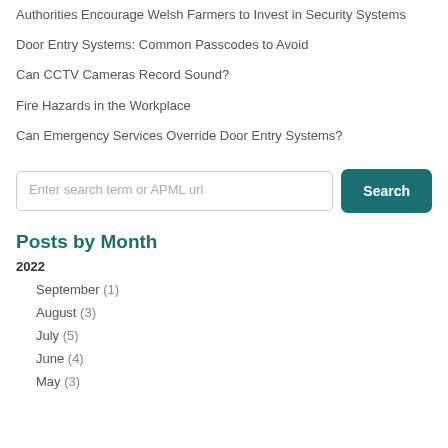Authorities Encourage Welsh Farmers to Invest in Security Systems
Door Entry Systems: Common Passcodes to Avoid
Can CCTV Cameras Record Sound?
Fire Hazards in the Workplace
Can Emergency Services Override Door Entry Systems?
Enter search term or APML url
Posts by Month
2022
September (1)
August (3)
July (5)
June (4)
May (3)